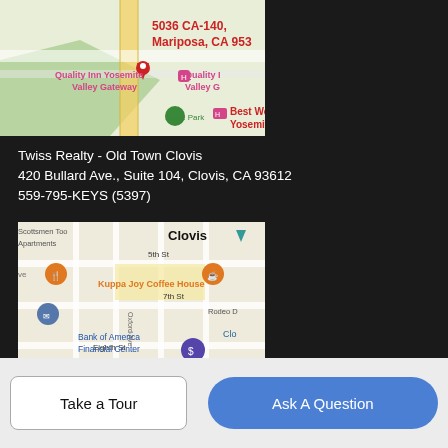[Figure (map): Google Maps screenshot showing location at 5036 CA-140, Mariposa, CA 953, with red location pin, Quality Inn Yosemite Valley Gateway, Skate Park, and Best Western Yosemite Way markers visible]
Twiss Realty - Old Town Clovis
420 Bullard Ave., Suite 104, Clovis, CA 93612
559-795-KEYS (5397)
[Figure (map): Google Maps screenshot showing Clovis area with Scottsmen Too Apartments, Kuppa Joy Coffee House, Bank of America Financial Center, 5th St, 7th St, Oxford Ave, Eighth St, Rodeo Dr markers]
Take a Tour
Ask A Question